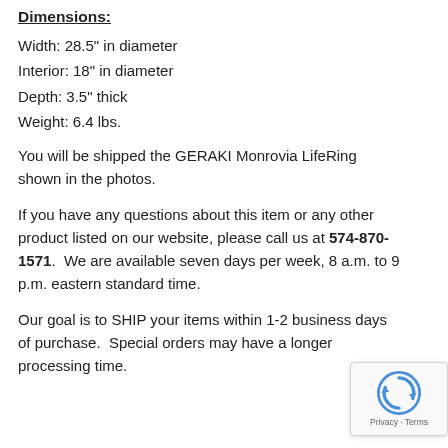Dimensions:
Width: 28.5" in diameter
Interior: 18" in diameter
Depth: 3.5" thick
Weight: 6.4 lbs.
You will be shipped the GERAKI Monrovia LifeRing shown in the photos.
If you have any questions about this item or any other product listed on our website, please call us at 574-870-1571.  We are available seven days per week, 8 a.m. to 9 p.m. eastern standard time.
Our goal is to SHIP your items within 1-2 business days of purchase.  Special orders may have a longer processing time.